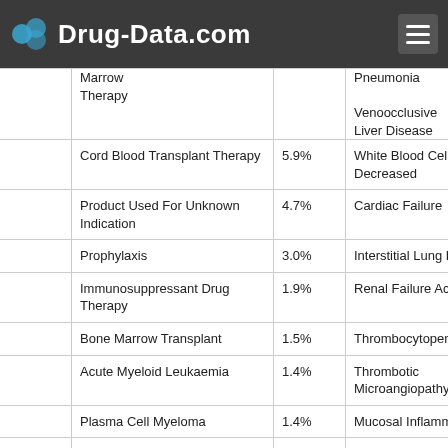Drug-Data.com
|  | Indication | % | Adverse Effect |
| --- | --- | --- | --- |
|  | Marrow Therapy (partial) |  | Pneumonia / Venoocclusive Liver Disease (partial) |
|  | Cord Blood Transplant Therapy | 5.9% | White Blood Cell Count Decreased |
|  | Product Used For Unknown Indication | 4.7% | Cardiac Failure |
|  | Prophylaxis | 3.0% | Interstitial Lung Disease |
|  | Immunosuppressant Drug Therapy | 1.9% | Renal Failure Acute |
|  | Bone Marrow Transplant | 1.5% | Thrombocytopenia |
|  | Acute Myeloid Leukaemia | 1.4% | Thrombotic Microangiopathy |
|  | Plasma Cell Myeloma | 1.4% | Mucosal Inflammation |
|  | Chemotherapy | 1.0% | Mucous Membrane Disorder |
|  | Infection | 1.0% |  |